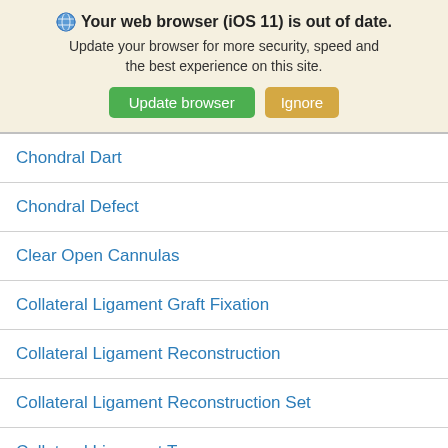🌐 Your web browser (iOS 11) is out of date. Update your browser for more security, speed and the best experience on this site. [Update browser] [Ignore]
Chondral Dart
Chondral Defect
Clear Open Cannulas
Collateral Ligament Graft Fixation
Collateral Ligament Reconstruction
Collateral Ligament Reconstruction Set
Collateral Ligament Tear